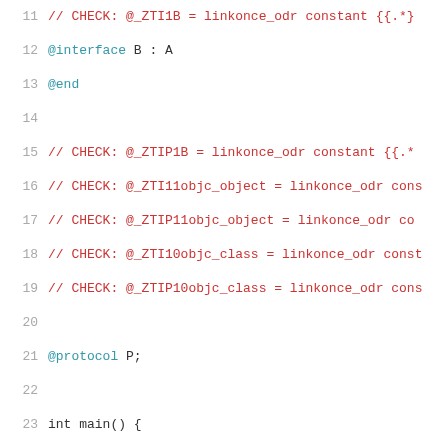11   // CHECK: @_ZTI1B = linkonce_odr constant {{.*}
12   @interface B : A
13   @end
14
15   // CHECK: @_ZTIP1B = linkonce_odr constant {{.*
16   // CHECK: @_ZTI11objc_object = linkonce_odr cons
17   // CHECK: @_ZTIP11objc_object = linkonce_odr co
18   // CHECK: @_ZTI10objc_class = linkonce_odr const
19   // CHECK: @_ZTIP10objc_class = linkonce_odr cons
20
21   @protocol P;
22
23   int main() {
24     // CHECK: store {{.*}} @_ZTIP1B
25     // CHECK: store {{.*}} @_ZTI1B
26     const std::type_info &t1 = typeid(B*);
27     const std::type_info &t2 = typeid(B);
28
29     // CHECK: store {{.*}} @_ZTIP11objc_object
30     // CHECK: store {{.*}} @_ZTI11objc_object
31     id i = 0;